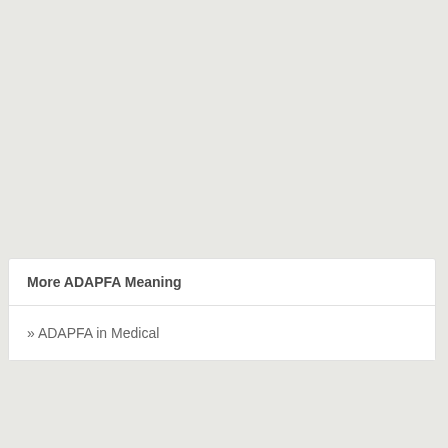More ADAPFA Meaning
» ADAPFA in Medical